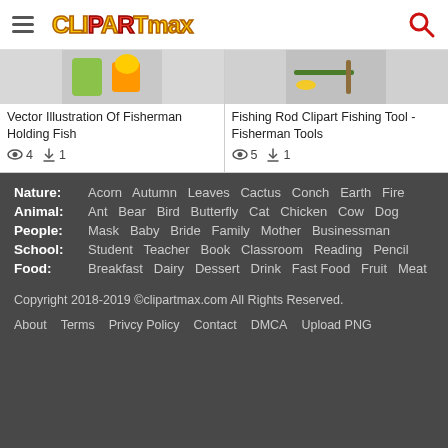CLIPARTMAX
Vector Illustration Of Fisherman Holding Fish — views: 4, downloads: 1
Fishing Rod Clipart Fishing Tool - Fisherman Tools — views: 5, downloads: 1
Nature: Acorn Autumn Leaves Cactus Conch Earth Fire
Animal: Ant Bear Bird Butterfly Cat Chicken Cow Dog
People: Mask Baby Bride Family Mother Businessman
School: Student Teacher Book Classroom Reading Pencil
Food: Breakfast Dairy Dessert Drink Fast Food Fruit Meat
Copyright 2018-2019 ©clipartmax.com All Rights Reserved.
About   Terms   Privcy Policy   Contact   DMCA   Upload PNG